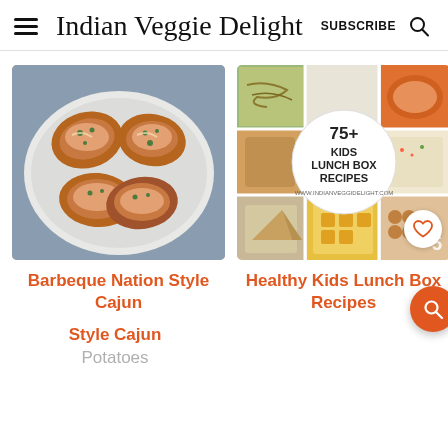Indian Veggie Delight  SUBSCRIBE
[Figure (photo): Barbeque Nation Style Cajun Potatoes – stuffed potato skins on a white plate topped with cheese sauce and herbs]
[Figure (photo): Healthy Kids Lunch Box Recipes – collage of 9 lunch box photos with text '75+ KIDS LUNCH BOX RECIPES www.indianveggidelight.com' in center circle]
Barbeque Nation Style Cajun
Healthy Kids Lunch Box Recipes
Potatoes